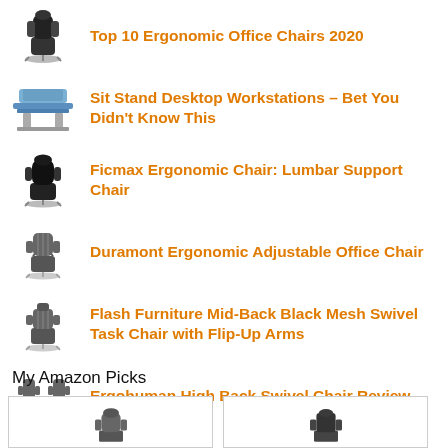Top 10 Ergonomic Office Chairs 2020
Sit Stand Desktop Workstations – Bet You Didn't Know This
Ficmax Ergonomic Chair: Lumbar Support Chair
Duramont Ergonomic Adjustable Office Chair
Flash Furniture Mid-Back Black Mesh Swivel Task Chair with Flip-Up Arms
Ergohuman High Back Swivel Chair Review
My Amazon Picks
[Figure (photo): Two product image boxes showing office chairs, partially visible at bottom of page]